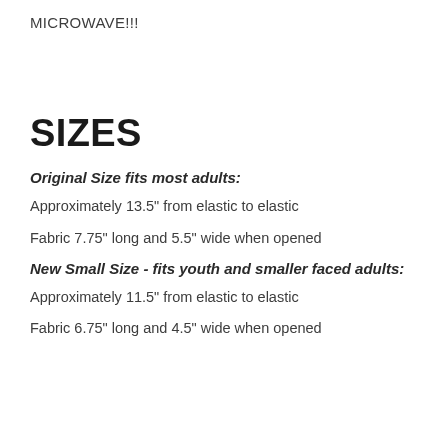MICROWAVE!!!
SIZES
Original Size fits most adults:
Approximately 13.5" from elastic to elastic
Fabric 7.75" long and 5.5" wide when opened
New Small Size - fits youth and smaller faced adults:
Approximately 11.5" from elastic to elastic
Fabric 6.75" long and 4.5" wide when opened